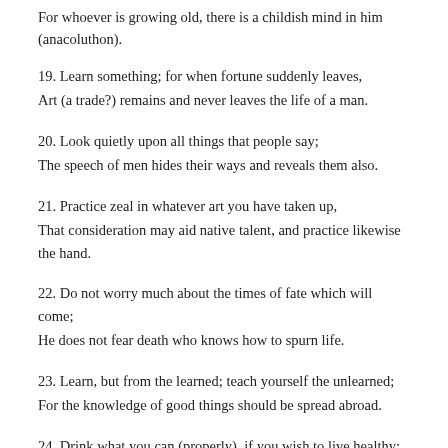For whoever is growing old, there is a childish mind in him (anacoluthon).
19. Learn something; for when fortune suddenly leaves,
Art (a trade?) remains and never leaves the life of a man.
20. Look quietly upon all things that people say;
The speech of men hides their ways and reveals them also.
21. Practice zeal in whatever art you have taken up,
That consideration may aid native talent, and practice likewise the hand.
22. Do not worry much about the times of fate which will come;
He does not fear death who knows how to spurn life.
23. Learn, but from the learned; teach yourself the unlearned;
For the knowledge of good things should be spread abroad.
24. Drink what you can (properly), if you wish to live healthy;
The cause of bad disease is most frequently some kind of pleasure.